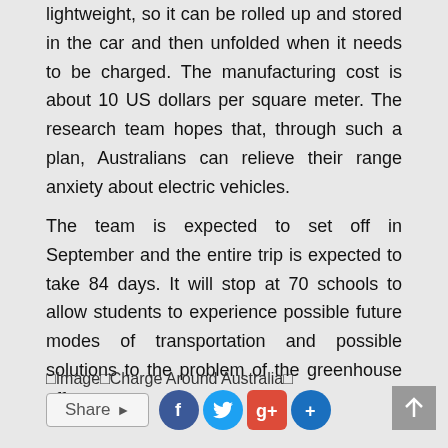lightweight, so it can be rolled up and stored in the car and then unfolded when it needs to be charged. The manufacturing cost is about 10 US dollars per square meter. The research team hopes that, through such a plan, Australians can relieve their range anxiety about electric vehicles.
The team is expected to set off in September and the entire trip is expected to take 84 days. It will stop at 70 schools to allow students to experience possible future modes of transportation and possible solutions to the problem of the greenhouse effect.
■Image■Charge Around Australia■
[Figure (other): Share bar with Facebook, Twitter, Google+, and More social sharing icons, plus a scroll-to-top button]